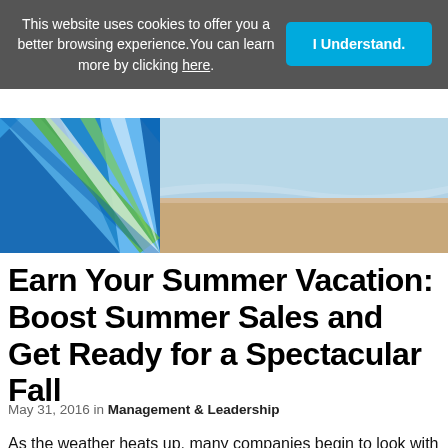This website uses cookies to offer you a better browsing experience. You can learn more by clicking here.
[Figure (photo): Beach scene with colorful striped umbrella on the left and sandy shore with ocean waves on the right]
Earn Your Summer Vacation: Boost Summer Sales and Get Ready for a Spectacular Fall
May 31, 2016 in Management & Leadership
As the weather heats up, many companies begin to look with dread upon the impending summer slowdown. For brands unprepared for the